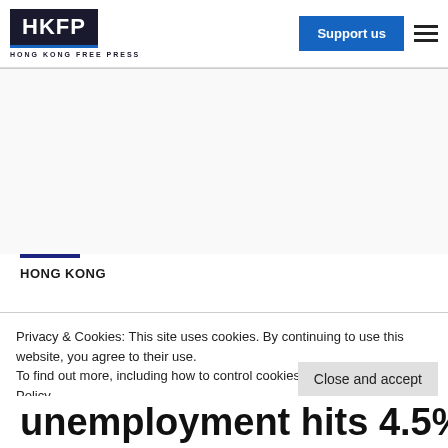HKFP – HONG KONG FREE PRESS
[Figure (other): Advertisement placeholder area]
HONG KONG
unemployment hits 4.5%
Privacy & Cookies: This site uses cookies. By continuing to use this website, you agree to their use. To find out more, including how to control cookies, see here: Cookie Policy
Close and accept